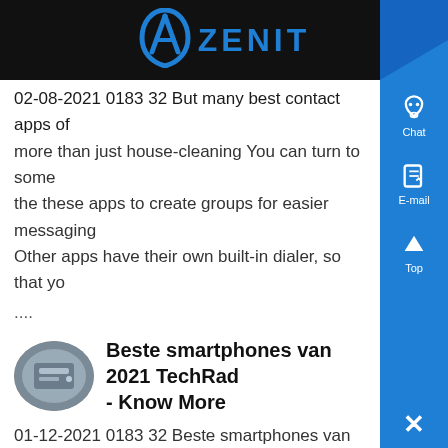ZENIT
02-08-2021 0183 32 But many best contact apps of more than just house-cleaning You can turn to some the these apps to create groups for easier messaging Other apps have their own built-in dialer, so that yo
....
[Figure (photo): Small oval thumbnail image of industrial/technological equipment]
Beste smartphones van 2021 TechRad - Know More
01-12-2021 0183 32 Beste smartphones van 2021 1 topklasse smartphones getest en beoordeeld Door Gareth Beavis , John McCann , Dennis van Houts , Bram Lodewijks , Jarno Stinissen published 26 dag geleden De beste smartphone van dit moment is de Samsung Galaxy S21 Ultra Image credit OnePlus, Apple, Samsung...